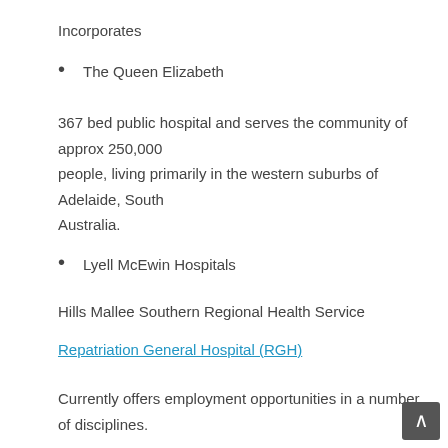Incorporates
The Queen Elizabeth
367 bed public hospital and serves the community of approx 250,000 people, living primarily in the western suburbs of Adelaide, South Australia.
Lyell McEwin Hospitals
Hills Mallee Southern Regional Health Service
Repatriation General Hospital (RGH)
Currently offers employment opportunities in a number of disciplines.
Royal Adelaide Hospital